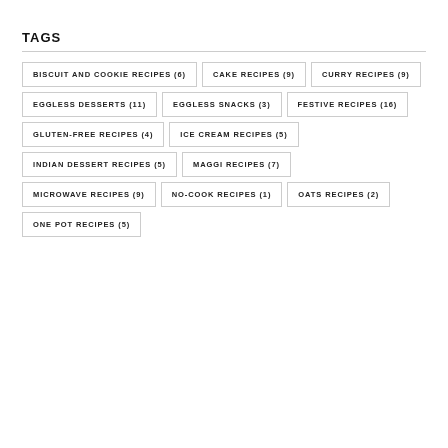TAGS
BISCUIT AND COOKIE RECIPES (6)
CAKE RECIPES (9)
CURRY RECIPES (9)
EGGLESS DESSERTS (11)
EGGLESS SNACKS (3)
FESTIVE RECIPES (16)
GLUTEN-FREE RECIPES (4)
ICE CREAM RECIPES (5)
INDIAN DESSERT RECIPES (5)
MAGGI RECIPES (7)
MICROWAVE RECIPES (9)
NO-COOK RECIPES (1)
OATS RECIPES (2)
ONE POT RECIPES (5)